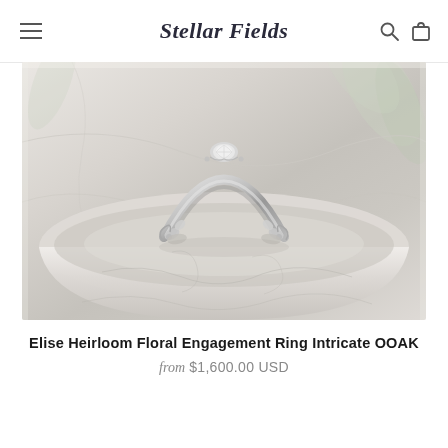Stellar Fields
[Figure (photo): Close-up photograph of a silver floral heirloom engagement ring resting on a white marble surface with soft grey veining. The ring features intricate ornate detailing along the band.]
Elise Heirloom Floral Engagement Ring Intricate OOAK
from $1,600.00 USD